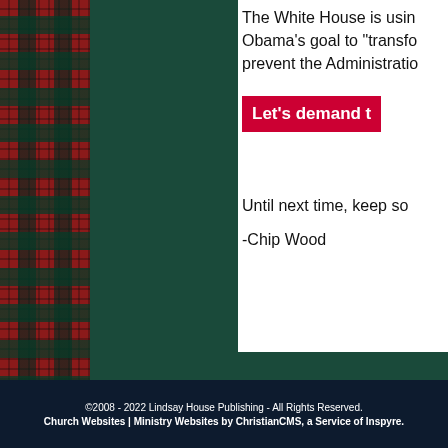The White House is using Obama's goal to "transform" prevent the Administration
Let's demand t
Until next time, keep so
-Chip Wood
©2008 - 2022 Lindsay House Publishing - All Rights Reserved. Church Websites | Ministry Websites by ChristianCMS, a Service of Inspyre.